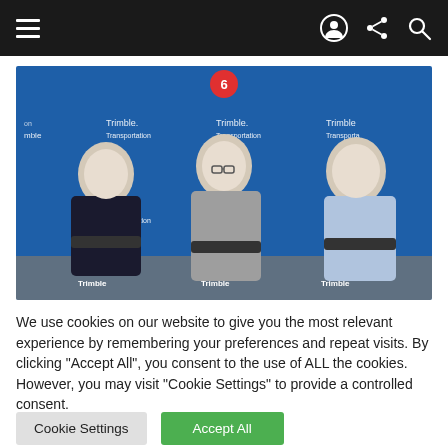Navigation bar with hamburger menu and icons
[Figure (photo): Three men seated on chairs in front of a blue Trimble Transportation branded backdrop at a panel event. A red notification badge with the number 6 appears at the top center of the image.]
We use cookies on our website to give you the most relevant experience by remembering your preferences and repeat visits. By clicking "Accept All", you consent to the use of ALL the cookies. However, you may visit "Cookie Settings" to provide a controlled consent.
Cookie Settings
Accept All